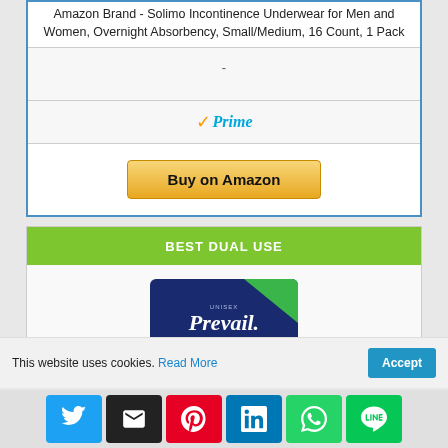Amazon Brand - Solimo Incontinence Underwear for Men and Women, Overnight Absorbency, Small/Medium, 16 Count, 1 Pack
-
[Figure (logo): Amazon Prime logo with orange checkmark and blue italic Prime text]
[Figure (other): Buy on Amazon button with gold gradient background]
BEST DUAL USE
[Figure (photo): Prevail Daily Underwear product package - navy blue box with green corner accent]
This website uses cookies.
Read More
Accept
[Figure (other): Social sharing icons bar: Twitter, Email, Pinterest, LinkedIn, WhatsApp, Line]